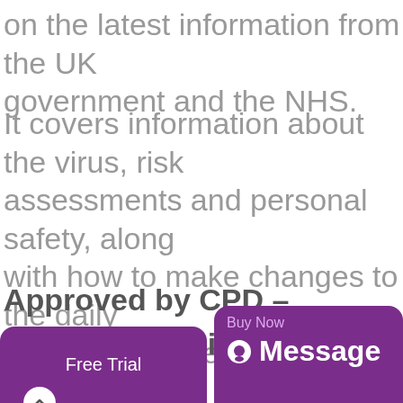on the latest information from the UK government and the NHS.
It covers information about the virus, risk assessments and personal safety, along with how to make changes to the daily work environment to address these risks.
Approved by CPD – Duration 30 mins* – £35.00
[Figure (other): Two purple buttons: 'Free Trial' (left) and 'Buy Now' with 'Message' icon (right)]